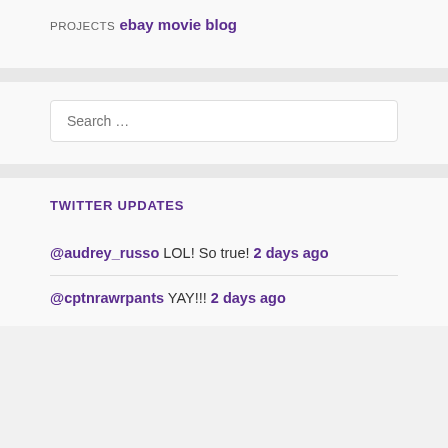PROJECTS
ebay movie blog
Search ...
TWITTER UPDATES
@audrey_russo LOL! So true! 2 days ago
@cptnrawrpants YAY!!! 2 days ago